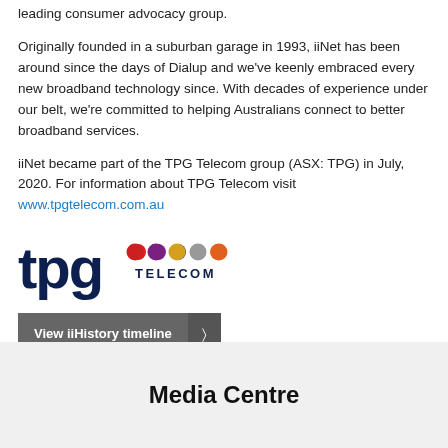leading consumer advocacy group.
Originally founded in a suburban garage in 1993, iiNet has been around since the days of Dialup and we've keenly embraced every new broadband technology since. With decades of experience under our belt, we're committed to helping Australians connect to better broadband services.
iiNet became part of the TPG Telecom group (ASX: TPG) in July, 2020. For information about TPG Telecom visit www.tpgtelecom.com.au
[Figure (logo): TPG Telecom logo with colored dots and text]
View iiHistory timeline
Media Centre